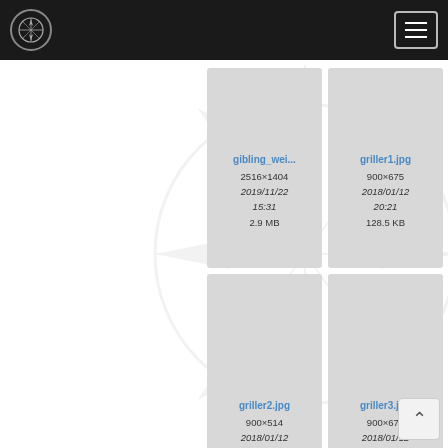Navigation bar with compass logo and hamburger menu
[Figure (screenshot): File thumbnail card: gibling_wei... - 2516×1404, 2019/11/22 15:31, 2.9 MB]
[Figure (screenshot): File thumbnail card: griller1.jpg - 900×675, 2018/01/12 20:21, 128.5 KB]
[Figure (screenshot): File thumbnail card: griller2.jpg - 900×514, 2018/01/12 20:21, 41.7 KB]
[Figure (screenshot): File thumbnail card: griller3.jpg - 900×675, 2018/01/12 20:21, 53.6 KB]